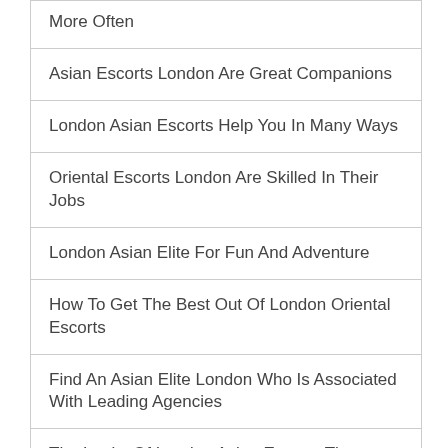More Often
Asian Escorts London Are Great Companions
London Asian Escorts Help You In Many Ways
Oriental Escorts London Are Skilled In Their Jobs
London Asian Elite For Fun And Adventure
How To Get The Best Out Of London Oriental Escorts
Find An Asian Elite London Who Is Associated With Leading Agencies
The Looks Of London Asian Escorts That…